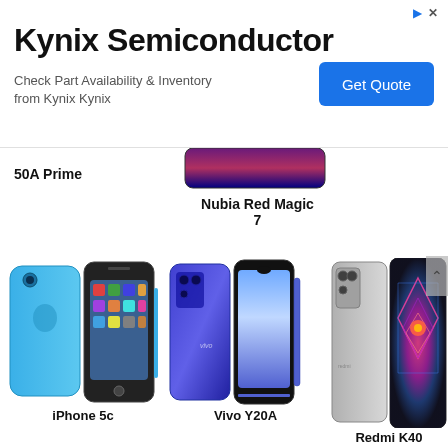[Figure (infographic): Kynix Semiconductor advertisement banner with 'Get Quote' button]
50A Prime
[Figure (photo): Nubia Red Magic 7 smartphone top portion]
Nubia Red Magic 7
[Figure (photo): iPhone 5c in blue color, front and back views]
iPhone 5c
[Figure (photo): Vivo Y20A smartphone in purple/blue color, front and back views]
Vivo Y20A
[Figure (photo): Redmi K40 in silver color with geometric back design]
Redmi K40